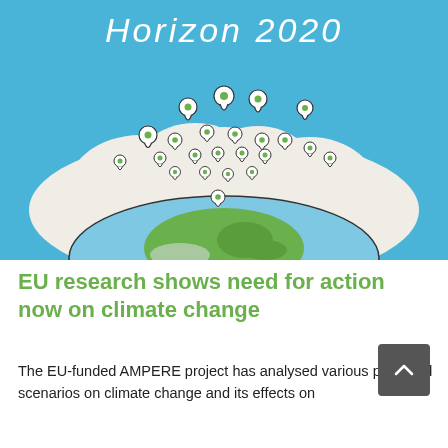[Figure (illustration): Illustration of a globe showing Europe at the center, surrounded by a large white cloud, with many map-pin location markers floating above it against a blue sky background. Text 'Horizon 2020' written in a hand-drawn style at the top of the image.]
EU research shows need for action now on climate change
The EU-funded AMPERE project has analysed various projected scenarios on climate change and its effects on